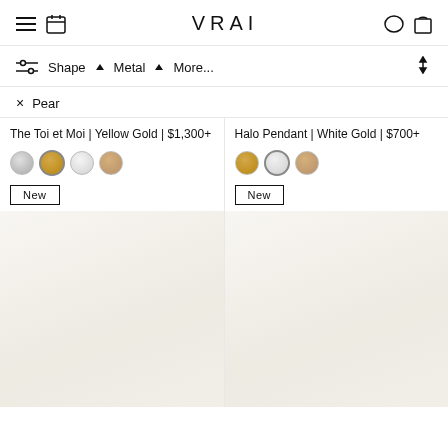VRAI
Shape ▲ Metal ▲ More...
× Pear
The Toi et Moi | Yellow Gold | $1,300+
Halo Pendant | White Gold | $700+
[Figure (screenshot): Product listing page for VRAI jewelry showing two product cards with color swatches and New badges]
New
New